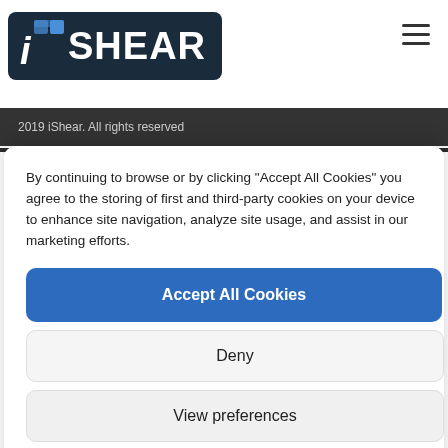[Figure (logo): iShear company logo with dark navy rounded rectangle background and blue/white icon]
2019 iShear. All rights reserved
By continuing to browse or by clicking "Accept All Cookies" you agree to the storing of first and third-party cookies on your device to enhance site navigation, analyze site usage, and assist in our marketing efforts.
Accept All Cookies
Deny
View preferences
Privacy Policy   Privacy Policy